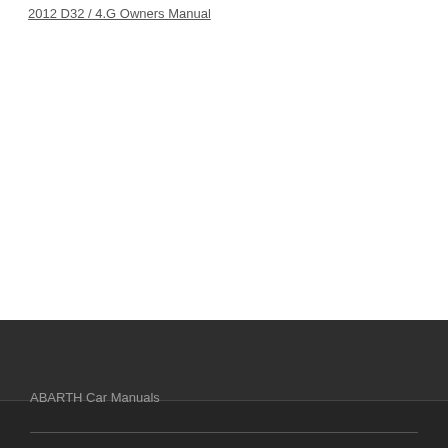2012 D32 / 4.G Owners Manual
ABARTH Car Manuals